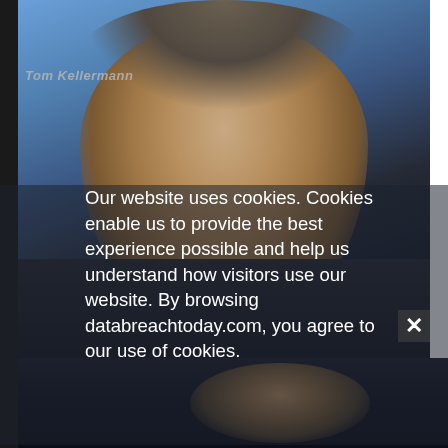[Figure (photo): Screenshot of a website (databreachtoday.com) showing a close-up photo of a man (Tom Kellermann) with short gray-brown hair against a blue background, wearing a dark suit. A cookie consent overlay popup is displayed over the image with white text. A second partial photo of a person appears at the bottom.]
Our website uses cookies. Cookies enable us to provide the best experience possible and help us understand how visitors use our website. By browsing databreachtoday.com, you agree to our use of cookies.
Tom Kellermann